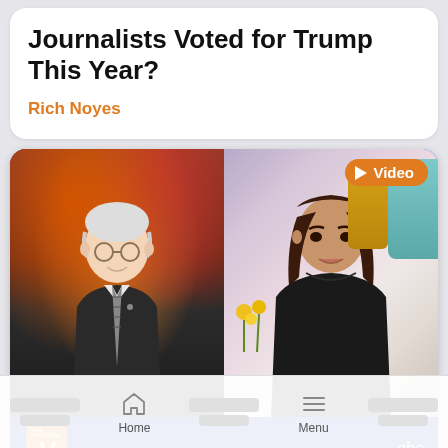Journalists Voted for Trump This Year?
Rich Noyes
[Figure (screenshot): Video thumbnail showing two people in a split-screen: on the left, an elderly white-haired man (Bernie Sanders) in front of autumn foliage; on the right, a dark-haired woman (Ana Navarro) in a studio setting. Bottom bar shows 'The Political View' logo on left and 'abc #THEVIEW' on right. Orange 'Video' badge in top-right corner.]
Home   Menu